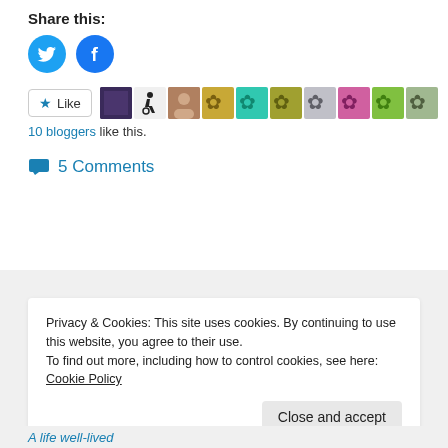Share this:
[Figure (illustration): Two circular social media share buttons: Twitter (blue bird icon) and Facebook (blue F icon)]
[Figure (illustration): Like button with star icon, followed by a strip of 10 blogger avatar thumbnails]
10 bloggers like this.
5 Comments
Privacy & Cookies: This site uses cookies. By continuing to use this website, you agree to their use.
To find out more, including how to control cookies, see here: Cookie Policy
Close and accept
A life well-lived